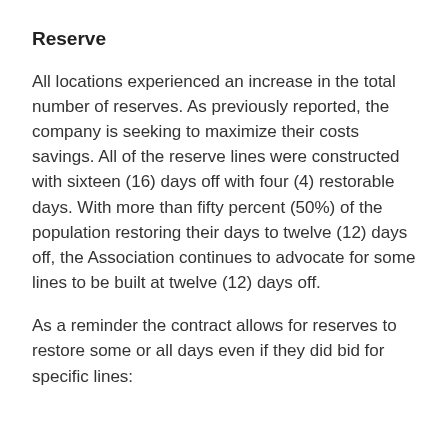Reserve
All locations experienced an increase in the total number of reserves. As previously reported, the company is seeking to maximize their costs savings. All of the reserve lines were constructed with sixteen (16) days off with four (4) restorable days. With more than fifty percent (50%) of the population restoring their days to twelve (12) days off, the Association continues to advocate for some lines to be built at twelve (12) days off.
As a reminder the contract allows for reserves to restore some or all days even if they did bid for specific lines: